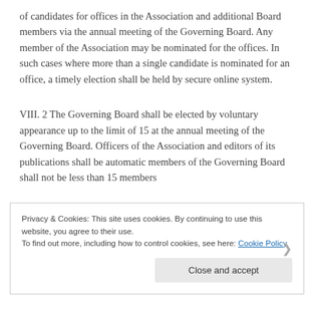of candidates for offices in the Association and additional Board members via the annual meeting of the Governing Board. Any member of the Association may be nominated for the offices. In such cases where more than a single candidate is nominated for an office, a timely election shall be held by secure online system.
VIII. 2 The Governing Board shall be elected by voluntary appearance up to the limit of 15 at the annual meeting of the Governing Board. Officers of the Association and editors of its publications shall be automatic members of the Governing Board shall not be less than 15 members.
Privacy & Cookies: This site uses cookies. By continuing to use this website, you agree to their use. To find out more, including how to control cookies, see here: Cookie Policy